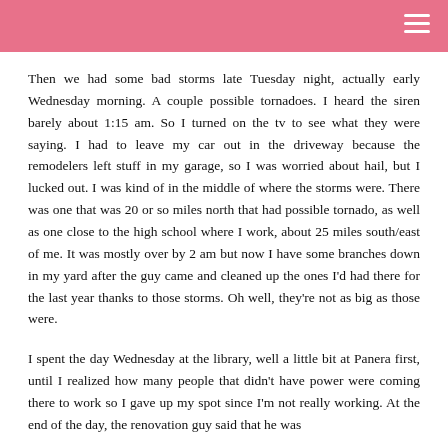Then we had some bad storms late Tuesday night, actually early Wednesday morning. A couple possible tornadoes. I heard the siren barely about 1:15 am. So I turned on the tv to see what they were saying. I had to leave my car out in the driveway because the remodelers left stuff in my garage, so I was worried about hail, but I lucked out. I was kind of in the middle of where the storms were. There was one that was 20 or so miles north that had possible tornado, as well as one close to the high school where I work, about 25 miles south/east of me. It was mostly over by 2 am but now I have some branches down in my yard after the guy came and cleaned up the ones I'd had there for the last year thanks to those storms. Oh well, they're not as big as those were.
I spent the day Wednesday at the library, well a little bit at Panera first, until I realized how many people that didn't have power were coming there to work so I gave up my spot since I'm not really working. At the end of the day, the renovation guy said that he was